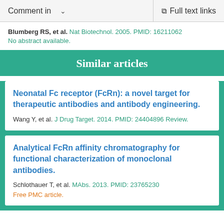Comment in  ∨    Full text links
Blumberg RS, et al. Nat Biotechnol. 2005. PMID: 16211062
No abstract available.
Similar articles
Neonatal Fc receptor (FcRn): a novel target for therapeutic antibodies and antibody engineering.
Wang Y, et al. J Drug Target. 2014. PMID: 24404896 Review.
Analytical FcRn affinity chromatography for functional characterization of monoclonal antibodies.
Schlothauer T, et al. MAbs. 2013. PMID: 23765230
Free PMC article.